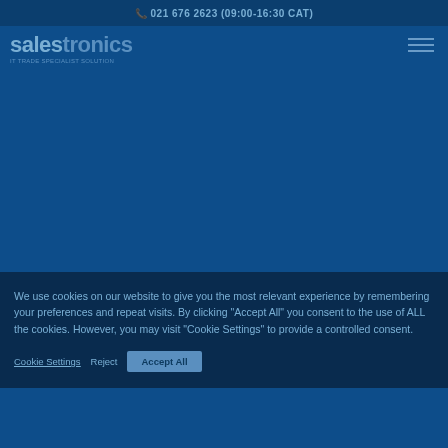021 676 2623 (09:00-16:30 CAT)
[Figure (logo): Salestronics logo with tagline 'IT TRADE SPECIALIST SOLUTION']
We use cookies on our website to give you the most relevant experience by remembering your preferences and repeat visits. By clicking "Accept All" you consent to the use of ALL the cookies. However, you may visit "Cookie Settings" to provide a controlled consent.
Cookie Settings   Reject   Accept All